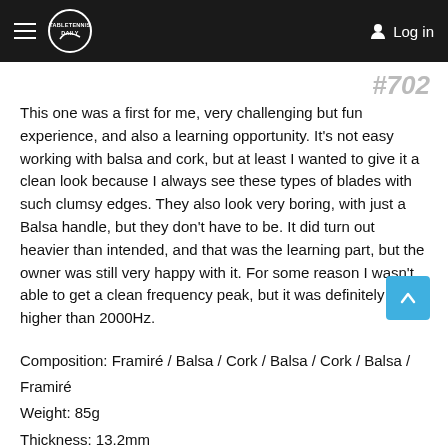TABLETENNISDAILY  Log in
#702
This one was a first for me, very challenging but fun experience, and also a learning opportunity. It's not easy working with balsa and cork, but at least I wanted to give it a clean look because I always see these types of blades with such clumsy edges. They also look very boring, with just a Balsa handle, but they don't have to be. It did turn out heavier than intended, and that was the learning part, but the owner was still very happy with it. For some reason I wasn't able to get a clean frequency peak, but it was definitely higher than 2000Hz.
Composition: Framiré / Balsa / Cork / Balsa / Cork / Balsa / Framiré
Weight: 85g
Thickness: 13.2mm
Freq.: ???
Balance: 4.8cm (Very High)